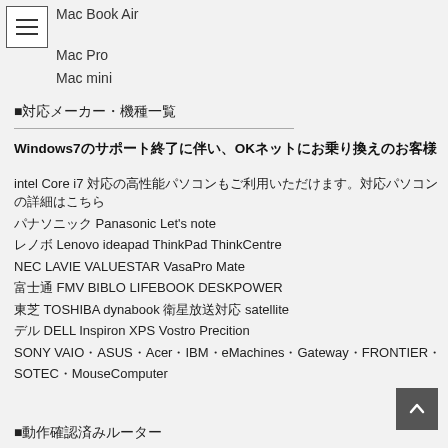Mac Book Air
Mac Pro
Mac mini
■対応メーカー・機種一覧
Windows7のサポート終了に伴い、OKネットにお乗り換えのお客様
intel Core i7 対応の高性能パソコンもご利用いただけます。対応パソコンの詳細はこちら
パナソニック Panasonic Let's note
レノボ Lenovo ideapad ThinkPad ThinkCentre
NEC LAVIE VALUESTAR VasaPro Mate
富士通 FMV BIBLO LIFEBOOK DESKPOWER
東芝 TOSHIBA dynabook 衛星放送対応 satellite
デル DELL Inspiron XPS Vostro Precition
SONY VAIO・ASUS・Acer・IBM・eMachines・Gateway・FRONTIER・SOTEC・MouseComputer
■動作確認済みルーター